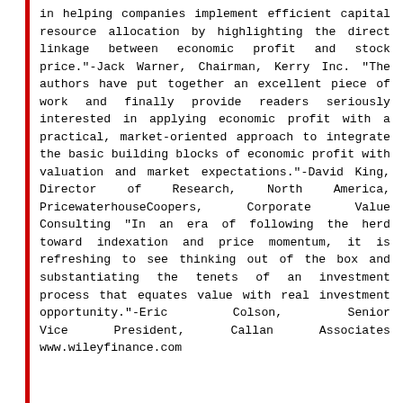in helping companies implement efficient capital resource allocation by highlighting the direct linkage between economic profit and stock price."-Jack Warner, Chairman, Kerry Inc. "The authors have put together an excellent piece of work and finally provide readers seriously interested in applying economic profit with a practical, market-oriented approach to integrate the basic building blocks of economic profit with valuation and market expectations."-David King, Director of Research, North America, PricewaterhouseCoopers, Corporate Value Consulting "In an era of following the herd toward indexation and price momentum, it is refreshing to see thinking out of the box and substantiating the tenets of an investment process that equates value with real investment opportunity."-Eric Colson, Senior Vice President, Callan Associates www.wileyfinance.com